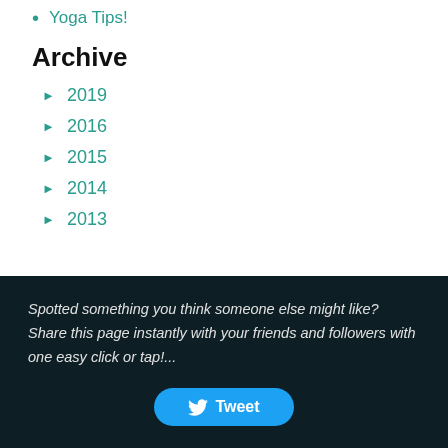Yoga Tips!
Archive
▶ 2019
▶ 2016
▶ 2015
▶ 2014
▶ 2013
Spotted something you think someone else might like? Share this page instantly with your friends and followers with one easy click or tap!...
Tweet